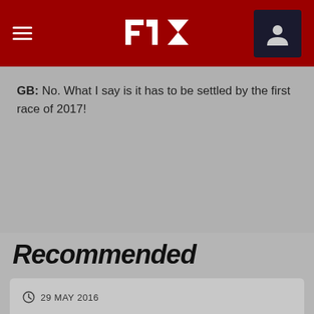F1 navigation header with hamburger menu, F1 logo, and user icon
GB: No. What I say is it has to be settled by the first race of 2017!
Recommended
29 MAY 2016
Gallery - the best images from Monaco